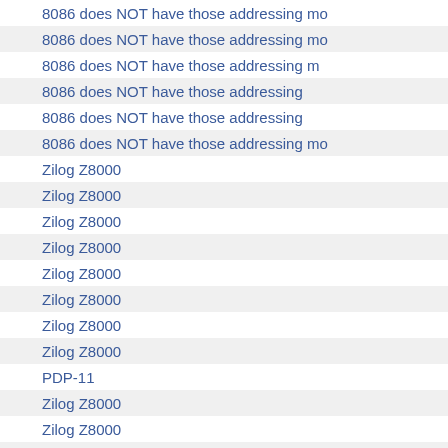8086 does NOT have those addressing mo
8086 does NOT have those addressing mo
8086 does NOT have those addressing m
8086 does NOT have those addressing
8086 does NOT have those addressing
8086 does NOT have those addressing mo
Zilog Z8000
Zilog Z8000
Zilog Z8000
Zilog Z8000
Zilog Z8000
Zilog Z8000
Zilog Z8000
Zilog Z8000
PDP-11
Zilog Z8000
Zilog Z8000
Zilog Z8000
Zilog Z8000
Zilog Z8000
Zilog Z8000
It's hard to separate
It's hard to separate